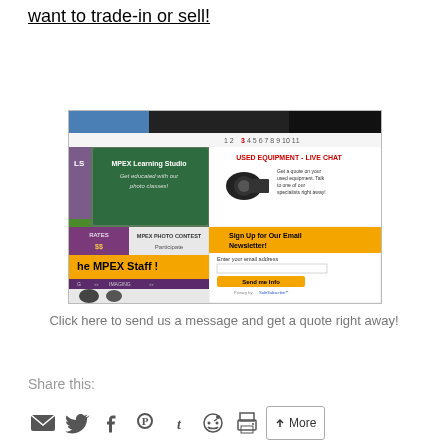want to trade-in or sell!
[Figure (screenshot): Screenshot of the MPEX website showing the MPEX Learning Studio, USED EQUIPMENT - LIVE CHAT section, Sign Up for Our Email Newsletter form, MPEX Photo Contest, and the MPEX Staff banner.]
Click here to send us a message and get a quote right away!
Share this:
[Figure (infographic): Row of social sharing icons: email, Twitter, Facebook, Pinterest, Tumblr, Reddit, printer, and More button]